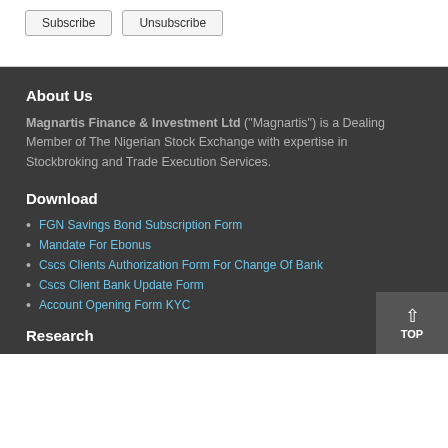Subscribe
Unsubscribe
About Us
Magnartis Finance & Investment Ltd ("Magnartis") is a Dealing Member of The Nigerian Stock Exchange with expertise in Stockbroking and Trade Execution Services.
Download
FGN Savings Bond Subscription Form
Mandate For Ebonus
Cscs Clients Authorization Form For Change Of Bank
Cscs Client Bank Update Form
Account Opening Form KYC
Research